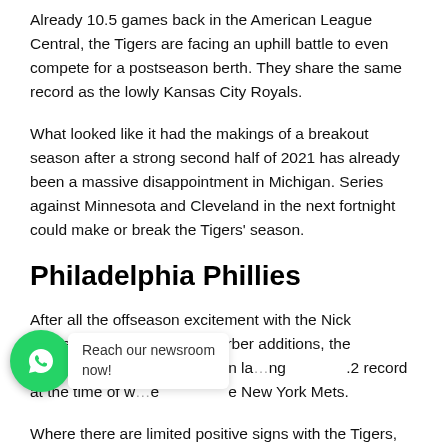Already 10.5 games back in the American League Central, the Tigers are facing an uphill battle to even compete for a postseason berth. They share the same record as the lowly Kansas City Royals.
What looked like it had the makings of a breakout season after a strong second half of 2021 has already been a massive disappointment in Michigan. Series against Minnesota and Cleveland in the next fortnight could make or break the Tigers' season.
Philadelphia Phillies
After all the offseason excitement with the Nick Castellanos and Kyle Schwarber additions, the Philadelphia Phillies are again la...ng ...2 record at the time of w...e ...e New York Mets.
Where there are limited positive signs with the Tigers,
[Figure (other): WhatsApp contact button with green circle icon and 'Reach our newsroom now!' tooltip bubble]